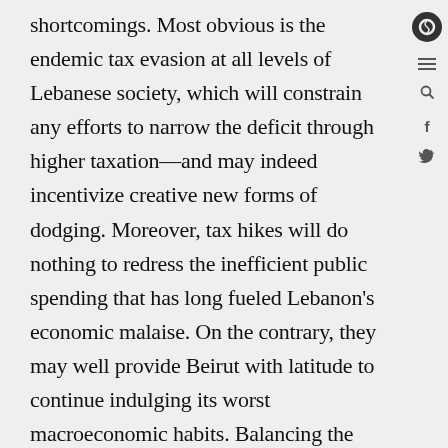shortcomings. Most obvious is the endemic tax evasion at all levels of Lebanese society, which will constrain any efforts to narrow the deficit through higher taxation—and may indeed incentivize creative new forms of dodging. Moreover, tax hikes will do nothing to redress the inefficient public spending that has long fueled Lebanon's economic malaise. On the contrary, they may well provide Beirut with latitude to continue indulging its worst macroeconomic habits. Balancing the budget, ultimately, should derive from smarter spending and improved tax collection, not higher tax rates.